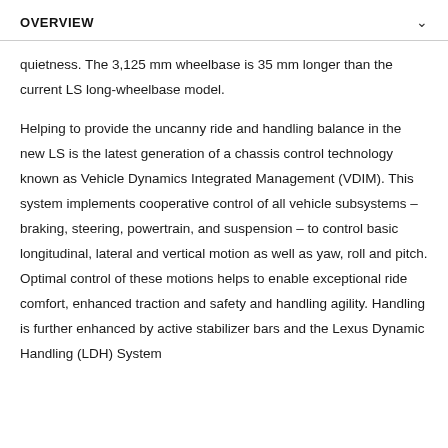OVERVIEW
quietness. The 3,125 mm wheelbase is 35 mm longer than the current LS long-wheelbase model.
Helping to provide the uncanny ride and handling balance in the new LS is the latest generation of a chassis control technology known as Vehicle Dynamics Integrated Management (VDIM). This system implements cooperative control of all vehicle subsystems – braking, steering, powertrain, and suspension – to control basic longitudinal, lateral and vertical motion as well as yaw, roll and pitch. Optimal control of these motions helps to enable exceptional ride comfort, enhanced traction and safety and handling agility. Handling is further enhanced by active stabilizer bars and the Lexus Dynamic Handling (LDH) System